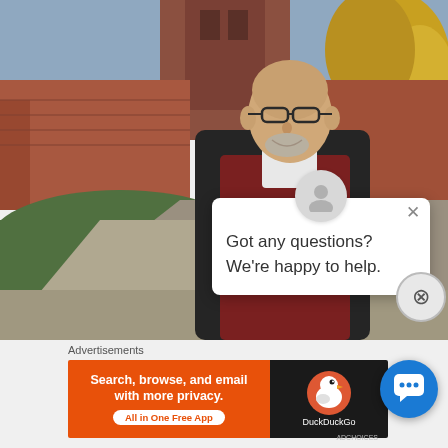[Figure (photo): Outdoor photo of an older bald man wearing glasses, dark blazer over a dark red sweater with white collar shirt, standing in front of a brick building/castle with trees in autumn colors. A chat popup overlay is visible in the lower right of the photo with an avatar icon, an X close button, and text 'Got any questions? We're happy to help.' There is also a circled X button at the lower right edge of the photo.]
Advertisements
[Figure (infographic): DuckDuckGo advertisement banner. Left side is orange with bold white text 'Search, browse, and email with more privacy.' and a white pill button 'All in One Free App'. Right side is dark/black with the DuckDuckGo duck logo and 'DuckDuckGo' text in white.]
[Figure (infographic): Blue circular chat support button with white speech bubble icon, positioned at bottom right.]